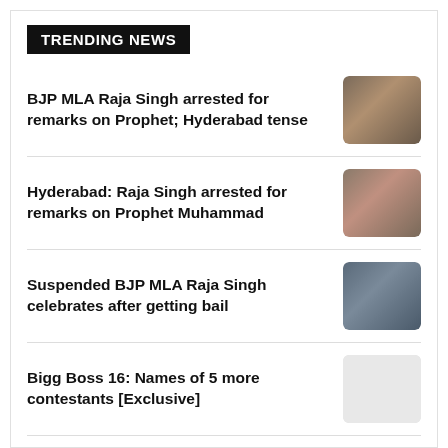TRENDING NEWS
BJP MLA Raja Singh arrested for remarks on Prophet; Hyderabad tense
Hyderabad: Raja Singh arrested for remarks on Prophet Muhammad
Suspended BJP MLA Raja Singh celebrates after getting bail
Bigg Boss 16: Names of 5 more contestants [Exclusive]
Prophet row: All roads to Hyderabad's old